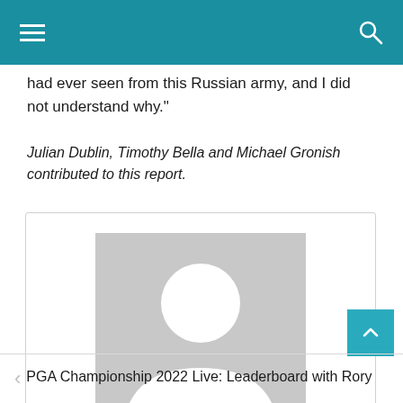Navigation bar with menu and search icons
had ever seen from this Russian army, and I did not understand why.”
Julian Dublin, Timothy Bella and Michael Gronish contributed to this report.
[Figure (illustration): Author profile card with gray placeholder avatar and name 'Arzu']
PGA Championship 2022 Live: Leaderboard with Rory